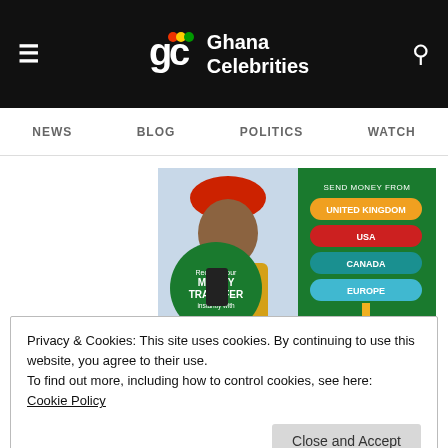Ghana Celebrities — NEWS | BLOG | POLITICS | WATCH
[Figure (infographic): Taptap Send advertisement: 'Receive your MONEY TRANSFER instantly with Taptap Send' showing a woman holding a phone, with a green panel listing countries: SEND MONEY FROM UNITED KINGDOM, USA, CANADA, EUROPE (with arrow) to ASIA, AFRICA]
Privacy & Cookies: This site uses cookies. By continuing to use this website, you agree to their use.
To find out more, including how to control cookies, see here:
Cookie Policy
Close and Accept